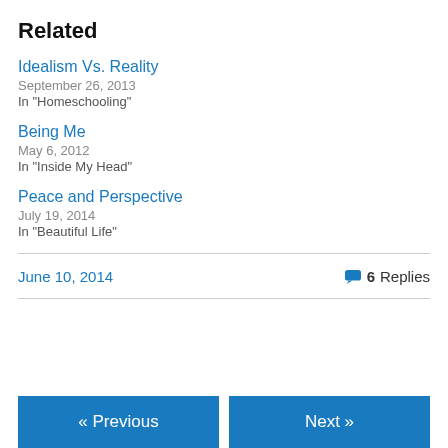Related
Idealism Vs. Reality
September 26, 2013
In "Homeschooling"
Being Me
May 6, 2012
In "Inside My Head"
Peace and Perspective
July 19, 2014
In "Beautiful Life"
June 10, 2014    6 Replies
« Previous    Next »